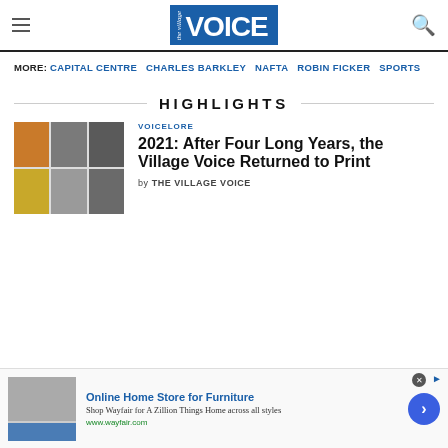The Village Voice
MORE: CAPITAL CENTRE CHARLES BARKLEY NAFTA ROBIN FICKER SPORTS
HIGHLIGHTS
[Figure (photo): Grid of Village Voice magazine covers]
VOICELORE
2021: After Four Long Years, the Village Voice Returned to Print
by THE VILLAGE VOICE
Online Home Store for Furniture Shop Wayfair for A Zillion Things Home across all styles www.wayfair.com